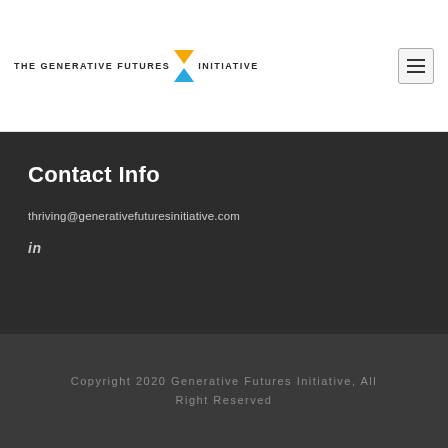THE GENERATIVE FUTURES INITIATIVE
Contact Info
thriving@generativefuturesinitiative.com
in
Copyright 2020 Generative Futures Initiative, All Right Reserved